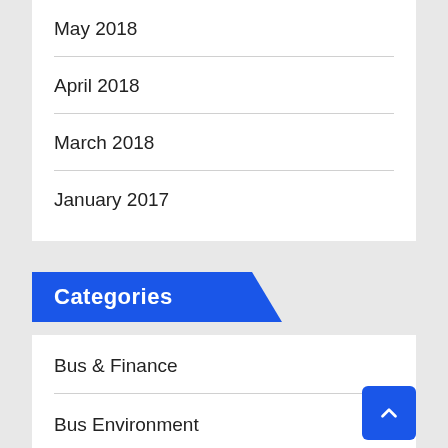May 2018
April 2018
March 2018
January 2017
Categories
Bus & Finance
Bus Environment
Bus Inquiries